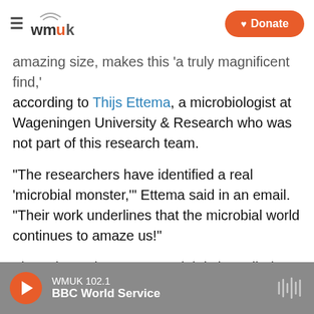WMUK [logo] | Donate
amazing size, makes this 'a truly magnificent find,' according to Thijs Ettema, a microbiologist at Wageningen University & Research who was not part of this research team.
"The researchers have identified a real 'microbial monster,'" Ettema said in an email. "Their work underlines that the microbial world continues to amaze us!"
These bacteria can't even rightly be called microbes, because microbes are by definition microscopic, points out Petra Anne Levin of Washington University in St Louis, who wrote a
WMUK 102.1 | BBC World Service